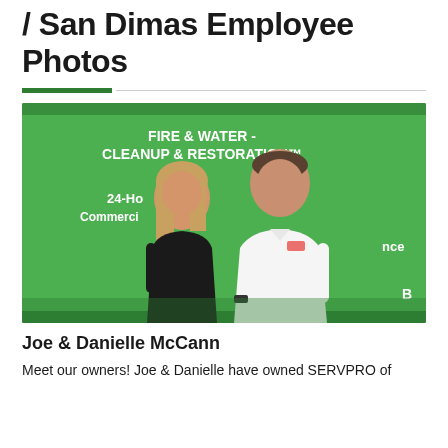/ San Dimas Employee Photos
[Figure (photo): Joe and Danielle McCann standing in front of a green SERVPRO truck. The truck reads 'FIRE & WATER - CLEANUP & RESTORATION' and '24-Hour' and 'Commercial'. Danielle wears black, Joe wears white dress shirt.]
Joe & Danielle McCann
Meet our owners! Joe & Danielle have owned SERVPRO of